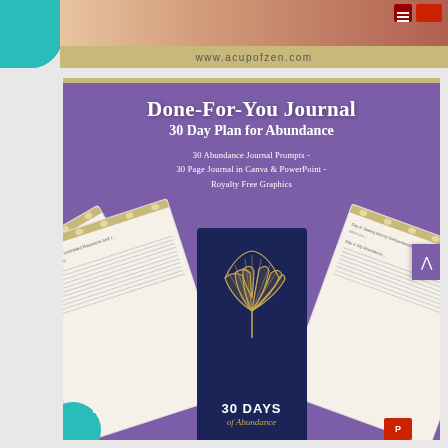[Figure (screenshot): Top banner with www.acupofzen.com URL on gold/tan background, with teal circle and image strip at top]
[Figure (infographic): Purple product card for Done-For-You Journal: 30 Day Plan for Abundance, showing journal pages fanned out with navy blue book cover showing ginkgo leaf and '30 DAYS of Abundance']
Done-For-You Journal
30 Day Plan for Abundance
30 Abundance Journal Prompts - 30 Page Journal in Canva & PowerPoint - Royalty Free Graphics